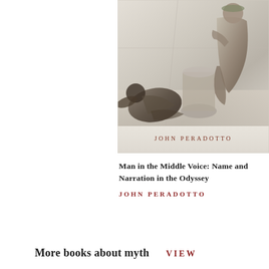[Figure (photo): Book cover of 'Man in the Middle Voice: Name and Narration in the Odyssey' by John Peradotto. The cover shows a black and white/sepia classical painting with robed figures, one kneeling on the left and one seated on the right near a column. The author name 'JOHN PERADOTTO' appears in reddish-brown spaced lettering at the bottom of the cover.]
Man in the Middle Voice: Name and Narration in the Odyssey
JOHN PERADOTTO
More books about myth VIEW